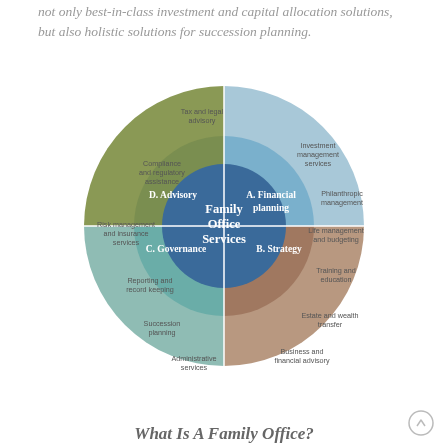not only best-in-class investment and capital allocation solutions, but also holistic solutions for succession planning.
[Figure (pie-chart): Circular diagram divided into 4 quadrants: A. Financial planning (blue, top-right), B. Strategy (brown, bottom-right), C. Governance (teal, bottom-left), D. Advisory (olive, top-left). Center circle: Family Office Services. Outer segments show sub-services for each quadrant.]
What Is A Family Office?